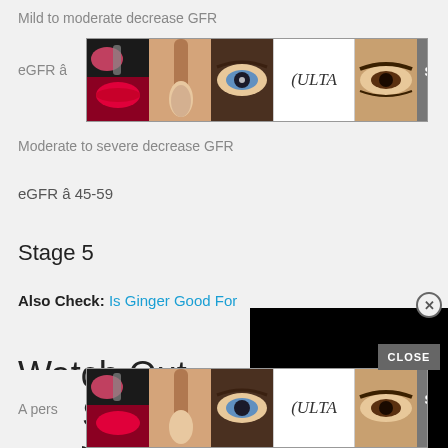Mild to moderate decrease GFR
[Figure (other): ULTA beauty advertisement banner with makeup imagery and SHOP NOW button]
eGFR â
Moderate to severe decrease GFR
eGFR â 45-59
Stage 5
Also Check: Is Ginger Good For
[Figure (other): Black video player overlay with close X button]
Watch Out For Signs Of Kidney Disease
A pers
[Figure (other): ULTA beauty advertisement banner with makeup imagery and SHOP NOW button (bottom)]